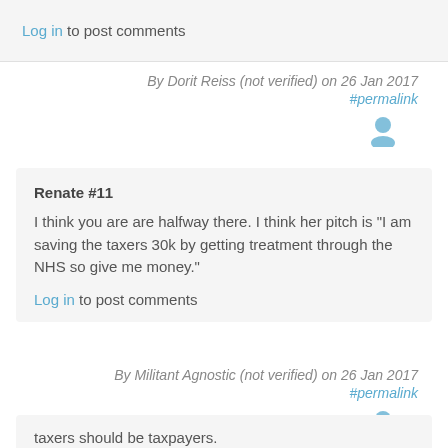Log in to post comments
By Dorit Reiss (not verified) on 26 Jan 2017 #permalink
Renate #11
I think you are are halfway there. I think her pitch is "I am saving the taxers 30k by getting treatment through the NHS so give me money."
Log in to post comments
By Militant Agnostic (not verified) on 26 Jan 2017 #permalink
taxers should be taxpayers.